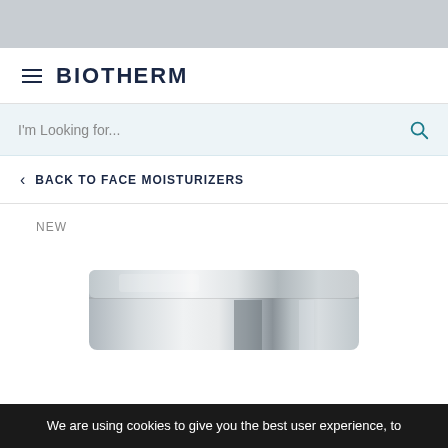[Figure (screenshot): Gray top banner area of a mobile website]
BIOTHERM
I'm Looking for...
BACK TO FACE MOISTURIZERS
NEW
[Figure (photo): Silver/chrome cosmetic jar product, cropped at bottom of page]
We are using cookies to give you the best user experience, to